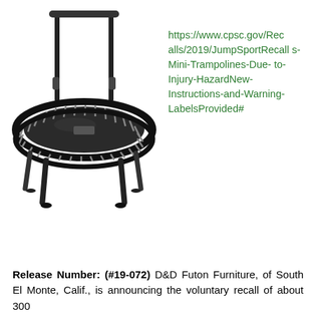[Figure (photo): A mini trampoline with a handlebar stabilizer bar, black frame with bungee cord suspension, four legs, viewed from the front-left angle.]
https://www.cpsc.gov/Recalls/2019/JumpSportRecalls-Mini-Trampolines-Due-to-Injury-HazardNew-Instructions-and-Warning-LabelsProvided#
Release Number: (#19-072) D&D Futon Furniture, of South El Monte, Calif., is announcing the voluntary recall of about 300